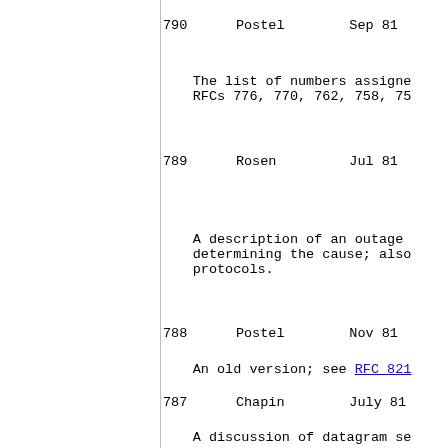790      Postel        Sep 81
The list of numbers assigned in RFCs 776, 770, 762, 758, 75...
789      Rosen         Jul 81
A description of an outage determining the cause; also protocols.
788      Postel        Nov 81
An old version; see RFC 821
787      Chapin        July 81
A discussion of datagram se...